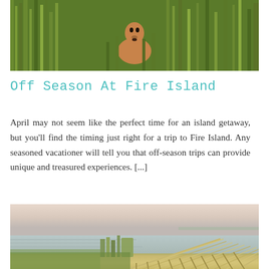[Figure (photo): A deer peeking through tall green marsh grass/reeds at Fire Island]
Off Season At Fire Island
April may not seem like the perfect time for an island getaway, but you'll find the timing just right for a trip to Fire Island. Any seasoned vacationer will tell you that off-season trips can provide unique and treasured experiences. [...]
[Figure (photo): A scenic boardwalk extending over calm water with marsh grass, at sunset/dusk with pastel sky at Fire Island]